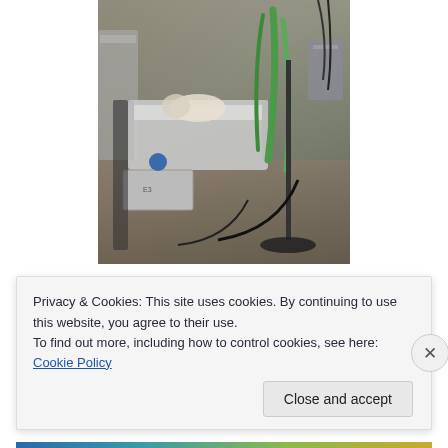[Figure (photo): ICU hospital room with a patient lying in a hospital bed surrounded by medical equipment, green tubes/lines, monitoring cables, and IV stands]
[Figure (photo): Partial view of a second image showing the top of a person's head]
Privacy & Cookies: This site uses cookies. By continuing to use this website, you agree to their use.
To find out more, including how to control cookies, see here: Cookie Policy